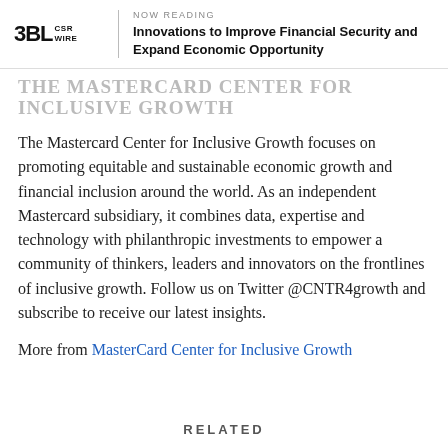NOW READING — Innovations to Improve Financial Security and Expand Economic Opportunity
THE MASTERCARD CENTER FOR INCLUSIVE GROWTH
The Mastercard Center for Inclusive Growth focuses on promoting equitable and sustainable economic growth and financial inclusion around the world. As an independent Mastercard subsidiary, it combines data, expertise and technology with philanthropic investments to empower a community of thinkers, leaders and innovators on the frontlines of inclusive growth. Follow us on Twitter @CNTR4growth and subscribe to receive our latest insights.
More from MasterCard Center for Inclusive Growth
RELATED